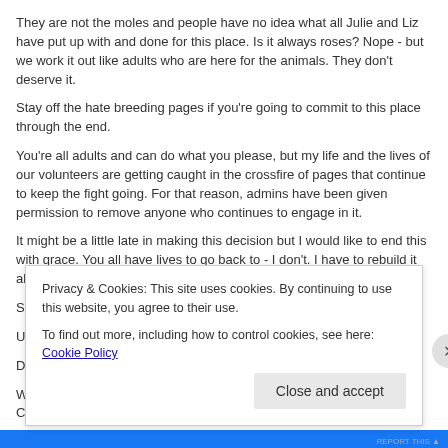They are not the moles and people have no idea what all Julie and Liz have put up with and done for this place. Is it always roses? Nope - but we work it out like adults who are here for the animals. They don't deserve it.
Stay off the hate breeding pages if you're going to commit to this place through the end.
You're all adults and can do what you please, but my life and the lives of our volunteers are getting caught in the crossfire of pages that continue to keep the fight going. For that reason, admins have been given permission to remove anyone who continues to engage in it.
It might be a little late in making this decision but I would like to end this with grace. You all have lives to go back to - I don't. I have to rebuild it all. I don't have time to babysit. I'm sick of the screen caps.
Stay off the hate pages. I don't care if it's for or against hicaliber.
Use that time to help raise money for hay.
Don't burn it all down on the way out.
We look like fucking idiots with internal people bashing each other. Congrats - we just did exactly what they wanted to happen.
Privacy & Cookies: This site uses cookies. By continuing to use this website, you agree to their use.
To find out more, including how to control cookies, see here: Cookie Policy
Close and accept